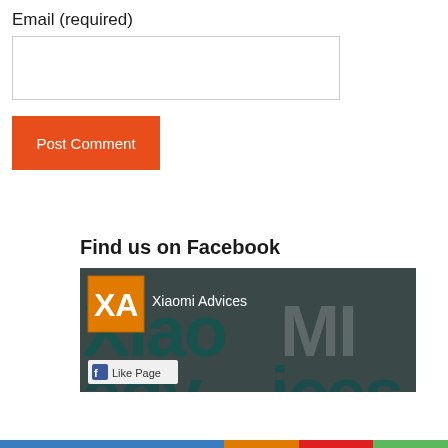Email (required)
[Figure (screenshot): Email input text box, empty]
[Figure (screenshot): Post Comment button, orange/red background with white text]
Find us on Facebook
[Figure (screenshot): Facebook page widget for Xiaomi Advices showing logo, page name, and Like Page button on dark background with large stylized text]